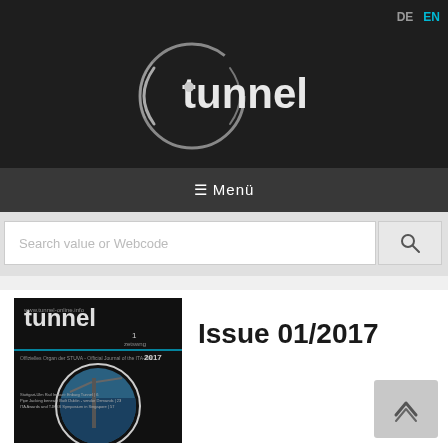DE  EN
[Figure (logo): tunnel magazine logo with circular swirl graphic on dark background]
≡ Menü
Search value or Webcode
[Figure (photo): Cover of tunnel magazine Issue 01/2017 showing dark background with tunnel logo and circular graphic with construction crane image]
Issue 01/2017